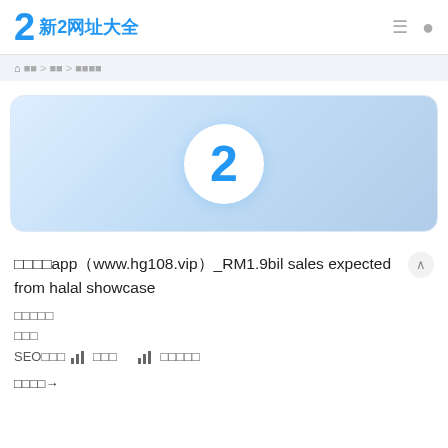新2网址大全
首页 > 新闻 > 体育新闻
[Figure (logo): Blue circle with number 2 on light blue gradient banner background]
皇冠app（www.hg108.vip）_RM1.9bil sales expected from halal showcase
皇冠正网
体育新闻
SEO数据  SEO信息   搜索热词
相关内容→